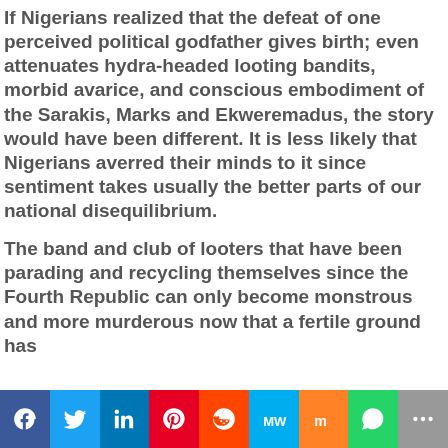If Nigerians realized that the defeat of one perceived political godfather gives birth; even attenuates hydra-headed looting bandits, morbid avarice, and conscious embodiment of the Sarakis, Marks and Ekweremadus, the story would have been different. It is less likely that Nigerians averred their minds to it since sentiment takes usually the better parts of our national disequilibrium.
The band and club of looters that have been parading and recycling themselves since the Fourth Republic can only become monstrous and more murderous now that a fertile ground has